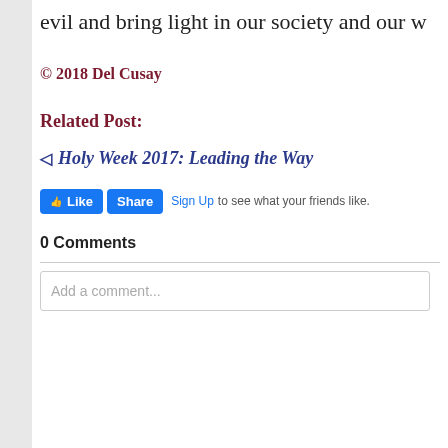evil and bring light in our society and our w…
© 2018 Del Cusay
Related Post:
◁ Holy Week 2017: Leading the Way
[Figure (screenshot): Facebook Like and Share buttons with Sign Up link and text 'to see what your friends like.']
0 Comments
Add a comment...